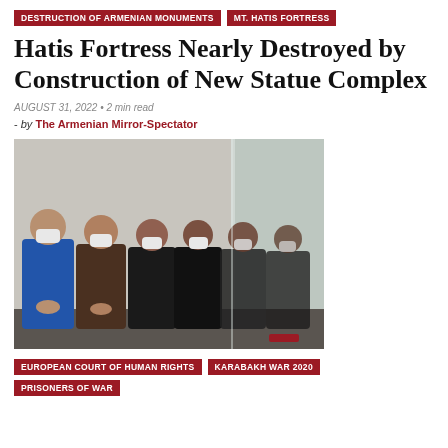DESTRUCTION OF ARMENIAN MONUMENTS | MT. HATIS FORTRESS
Hatis Fortress Nearly Destroyed by Construction of New Statue Complex
AUGUST 31, 2022 • 2 min read
- by The Armenian Mirror-Spectator
[Figure (photo): Group of men wearing white face masks seated in a row, apparently in a courtroom behind a glass partition. Men wear dark and blue clothing.]
EUROPEAN COURT OF HUMAN RIGHTS | KARABAKH WAR 2020 | PRISONERS OF WAR